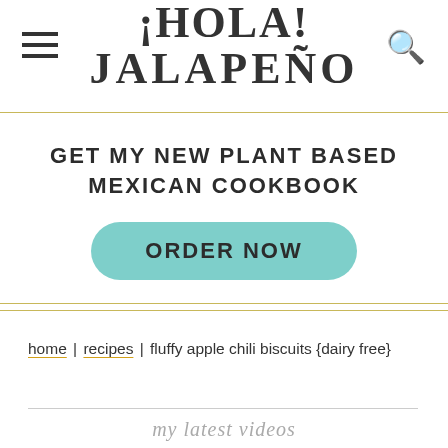¡HOLA! JALAPEÑO
GET MY NEW PLANT BASED MEXICAN COOKBOOK
ORDER NOW
home | recipes | fluffy apple chili biscuits {dairy free}
my latest videos